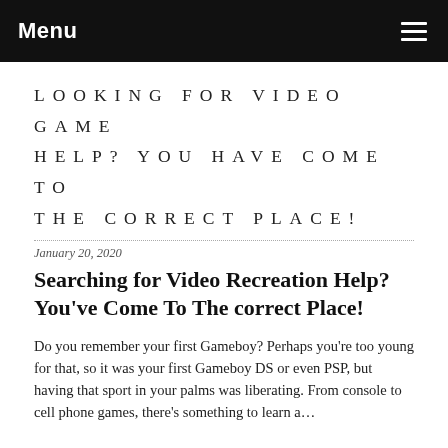Menu
LOOKING FOR VIDEO GAME HELP? YOU HAVE COME TO THE CORRECT PLACE!
January 20, 2020
Searching for Video Recreation Help? You've Come To The correct Place!
Do you remember your first Gameboy? Perhaps you're too young for that, so it was your first Gameboy DS or even PSP, but having that sport in your palms was liberating. From console to cell phone games, there's something to learn a…